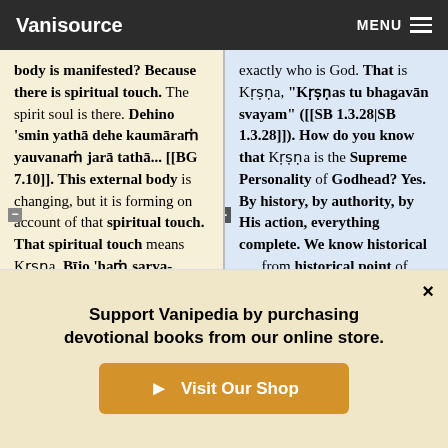Vanisource   MENU
body is manifested? Because there is spiritual touch. The spirit soul is there. Dehino 'smin yathā dehe kaumāraṁ yauvanaṁ jarā tathā... [[BG 7.10]]. This external body is changing, but it is forming on account of that spiritual touch. That spiritual touch means Kṛṣṇa. Bījo 'haṁ sarva-bhūtānām. So therefore the origin of everything is
exactly who is God. That is Kṛṣṇa, "Kṛṣṇas tu bhagavān svayam" ([[SB 1.3.28|SB 1.3.28]]). How do you know that Kṛṣṇa is the Supreme Personality of Godhead? Yes. By history, by authority, by His action, everything complete. We know historical . . . from historical point of view, Kṛṣṇa is there in the "Mahābhārata.
Support Vanipedia by purchasing devotional books from our online store.
Visit Our Shop